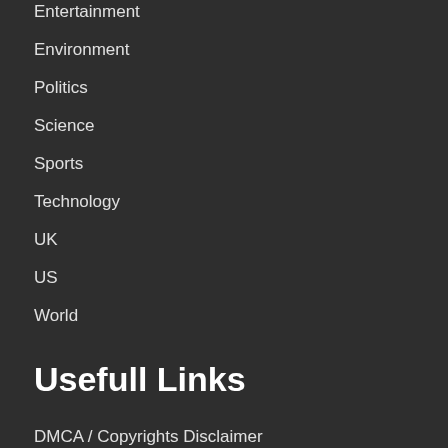Entertainment
Environment
Politics
Science
Sports
Technology
UK
US
World
Usefull Links
DMCA / Copyrights Disclaimer
Terms and Conditions